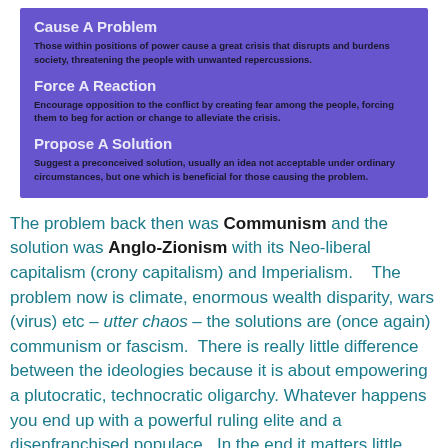Cause A Problem
Those within positions of power cause a great crisis that disrupts and burdens society, threatening the people with unwanted repercussions.
Force A Reaction
Encourage opposition to the conflict by creating fear among the people, forcing them to beg for action or change to alleviate the crisis.
Propose A Solution
Suggest a preconceived solution, usually an idea not acceptable under ordinary circumstances, but one which is beneficial for those causing the problem.
The problem back then was Communism and the solution was Anglo-Zionism with its Neo-liberal capitalism (crony capitalism) and Imperialism.    The problem now is climate, enormous wealth disparity, wars (virus) etc – utter chaos – the solutions are (once again) communism or fascism.  There is really little difference between the ideologies because it is about empowering a plutocratic, technocratic oligarchy.  Whatever happens you end up with a powerful ruling elite and a disenfranchised populace.  In the end it matters little who wins, or what “ideology” because the